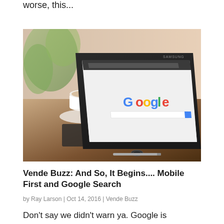worse, this...
[Figure (photo): Samsung tablet on a wooden table showing the Google search homepage in a browser, with a white coffee cup and saucer in the background, and a plant visible behind]
Vende Buzz: And So, It Begins.... Mobile First and Google Search
by Ray Larson | Oct 14, 2016 | Vende Buzz
Don't say we didn't warn ya.  Google is